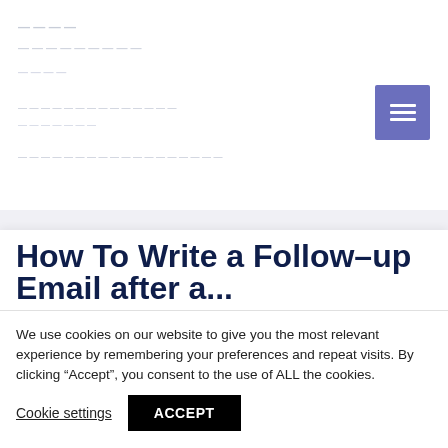How To Write a Follow-up Email after an...
We use cookies on our website to give you the most relevant experience by remembering your preferences and repeat visits. By clicking “Accept”, you consent to the use of ALL the cookies.
Cookie settings
ACCEPT